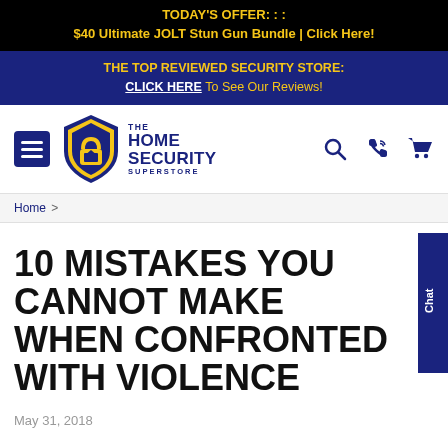TODAY'S OFFER: : :
$40 Ultimate JOLT Stun Gun Bundle | Click Here!
THE TOP REVIEWED SECURITY STORE:
CLICK HERE To See Our Reviews!
[Figure (logo): The Home Security Superstore logo with blue shield badge and yellow lock icon]
10 MISTAKES YOU CANNOT MAKE WHEN CONFRONTED WITH VIOLENCE
May 31, 2018